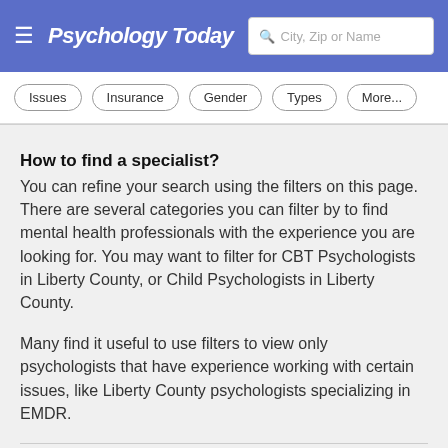Psychology Today — City, Zip or Name search
Issues
Insurance
Gender
Types
More...
How to find a specialist?
You can refine your search using the filters on this page. There are several categories you can filter by to find mental health professionals with the experience you are looking for. You may want to filter for CBT Psychologists in Liberty County, or Child Psychologists in Liberty County.
Many find it useful to use filters to view only psychologists that have experience working with certain issues, like Liberty County psychologists specializing in EMDR.